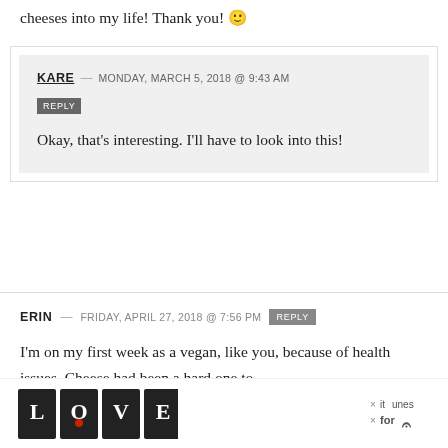cheeses into my life! Thank you! 🙂
KARE — MONDAY, MARCH 5, 2018 @ 9:43 AM
REPLY
Okay, that's interesting. I'll have to look into this!
ERIN — FRIDAY, APRIL 27, 2018 @ 7:56 PM
REPLY
I'm on my first week as a vegan, like you, because of health issues. Cheese had been a hard one to
[Figure (other): Advertisement banner with decorative LOVE text art and close button]